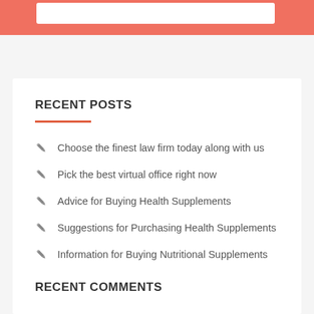RECENT POSTS
Choose the finest law firm today along with us
Pick the best virtual office right now
Advice for Buying Health Supplements
Suggestions for Purchasing Health Supplements
Information for Buying Nutritional Supplements
RECENT COMMENTS